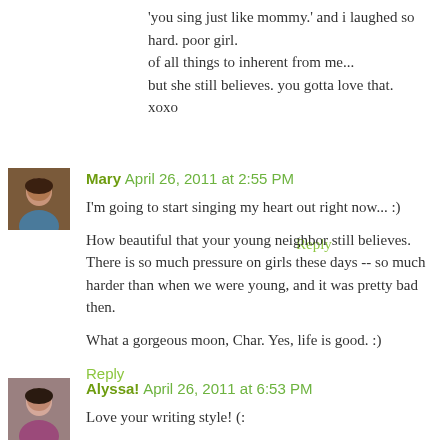'you sing just like mommy.' and i laughed so hard. poor girl. of all things to inherent from me...
but she still believes. you gotta love that.
xoxo
Reply
[Figure (photo): Avatar photo of Mary, a woman with dark hair]
Mary  April 26, 2011 at 2:55 PM
I'm going to start singing my heart out right now... :)

How beautiful that your young neighbor still believes. There is so much pressure on girls these days -- so much harder than when we were young, and it was pretty bad then.

What a gorgeous moon, Char. Yes, life is good. :)
Reply
[Figure (photo): Avatar photo of Alyssa, a young woman]
Alyssa!  April 26, 2011 at 6:53 PM
Love your writing style! (: